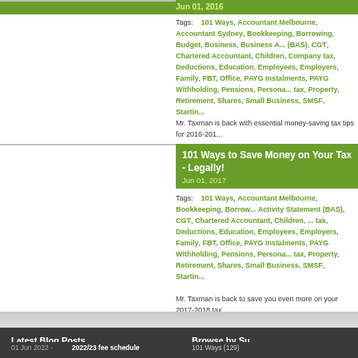Jun 01, 2016
Tags: 101 Ways, Accountant Melbourne, Accountant Sydney, Bookkeeping, Borrowing, Budget, Business, Business Activity Statement (BAS), CGT, Chartered Accountant, Children, Company tax, Deductions, Education, Employees, Employers, Family, FBT, Office, PAYG Instalments, PAYG Withholding, Pensions, Personal tax, Property, Retirement, Shares, Small Business, SMSF, Starting...
Mr. Taxman is back with essential money-saving tax tips for 2016-201...
101 Ways to Save Money on Your Tax - Legally!
Jun 01, 2017
Tags: 101 Ways, Accountant Melbourne, Bookkeeping, Borrowing, Business Activity Statement (BAS), CGT, Chartered Accountant, Children, Company tax, Deductions, Education, Employees, Employers, Family, FBT, Office, PAYG Instalments, PAYG Withholding, Pensions, Personal tax, Property, Retirement, Shares, Small Business, SMSF, Starting...
Mr. Taxman is back to save you even more on your 2017-2018 tax
Latest Blog Posts
Browse by Su...
01 Jun 2022 -
2022/23 fee schedule
101 Ways (129)